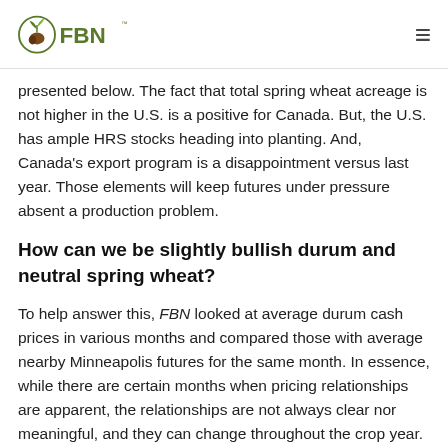FBN
presented below. The fact that total spring wheat acreage is not higher in the U.S. is a positive for Canada. But, the U.S. has ample HRS stocks heading into planting. And, Canada's export program is a disappointment versus last year. Those elements will keep futures under pressure absent a production problem.
How can we be slightly bullish durum and neutral spring wheat?
To help answer this, FBN looked at average durum cash prices in various months and compared those with average nearby Minneapolis futures for the same month. In essence, while there are certain months when pricing relationships are apparent, the relationships are not always clear nor meaningful, and they can change throughout the crop year. For instance, in August, there is